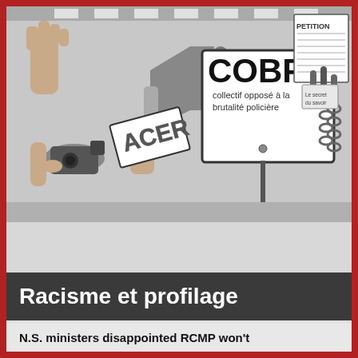[Figure (illustration): Black and white illustration showing protest scene with hands holding a camera, megaphone, and signs including one reading 'COBP collectif opposé à la brutalité policière' and another reading 'ACER'. Background shows urban/crosswalk setting. Top right has a 'PETITION' sign and other protest materials including chains.]
Racisme et profilage
N.S. ministers disappointed RCMP won't